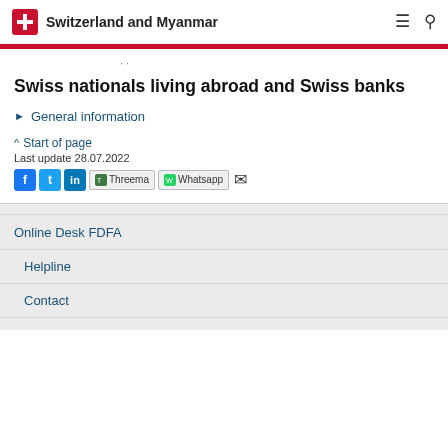Switzerland and Myanmar
Swiss nationals living abroad and Swiss banks
General information
^ Start of page
Last update 28.07.2022
Online Desk FDFA
Helpline
Contact